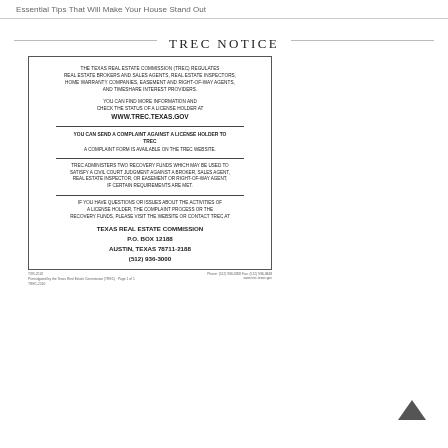Essential Tips That Will Make Your House Stand Out
TREC NOTICE
[Figure (other): TREC Notice document image showing regulatory information for the Texas Real Estate Commission, including website, complaint process, recovery funds, and contact information.]
THE TEXAS REAL ESTATE COMMISSION (TREC) REGULATES REAL ESTATE BROKERS AND SALES AGENTS, REAL ESTATE INSPECTORS, HOME WARRANTY COMPANIES, EASEMENT AND RIGHT-OF-WAY AGENTS, AND TIMESHARE INTEREST PROVIDERS.

YOU CAN FIND MORE INFORMATION AND CHECK THE STATUS OF A LICENSE HOLDER AT WWW.TREC.TEXAS.GOV

YOU CAN SEND A COMPLAINT AGAINST A LICENSE HOLDER TO TREC. A COMPLAINT FORM IS AVAILABLE ON THE TREC WEBSITE.

TREC ADMINISTERS TWO RECOVERY FUNDS WHICH MAY BE USED TO SATISFY A CIVIL COURT JUDGMENT AGAINST A BROKER, SALES AGENT, REAL ESTATE INSPECTOR, OR EASEMENT OR RIGHT-OF-WAY AGENT, IF CERTAIN REQUIREMENTS ARE MET.

IF YOU HAVE QUESTIONS OR ISSUES ABOUT THE ACTIVITIES OF A LICENSE HOLDER, THE COMPLAINT PROCESS OR THE RECOVERY FUNDS, PLEASE VISIT THE WEBSITE OR CONTACT TREC AT TEXAS REAL ESTATE COMMISSION P.O. BOX 12188 AUSTIN, TEXAS 78711-2188 (512) 936-3000